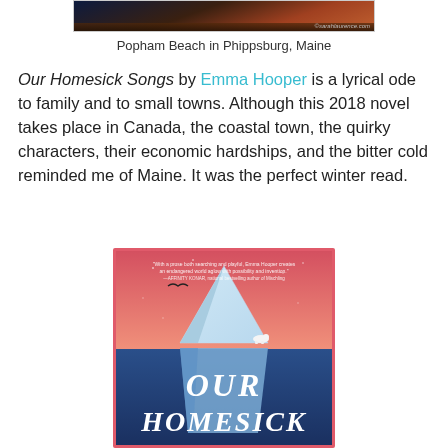[Figure (photo): Aerial/landscape photo of Popham Beach in Phippsburg, Maine at sunset/dusk with warm coastal colors]
Popham Beach in Phippsburg, Maine
Our Homesick Songs by Emma Hooper is a lyrical ode to family and to small towns. Although this 2018 novel takes place in Canada, the coastal town, the quirky characters, their economic hardships, and the bitter cold reminded me of Maine. It was the perfect winter read.
[Figure (illustration): Book cover of Our Homesick Songs showing an iceberg with a polar bear on top, a bird flying, against a pink/salmon sky, with the title OUR HOMESICK in large white italic letters on a blue lower half]